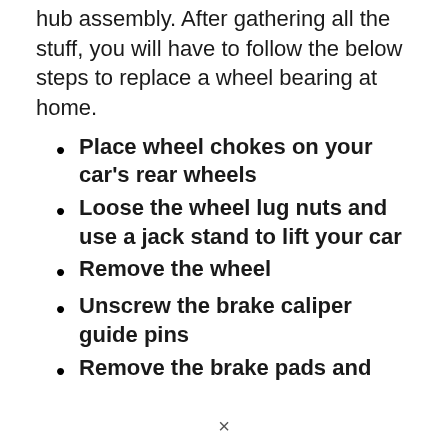hub assembly. After gathering all the stuff, you will have to follow the below steps to replace a wheel bearing at home.
Place wheel chokes on your car's rear wheels
Loose the wheel lug nuts and use a jack stand to lift your car
Remove the wheel
Unscrew the brake caliper guide pins
Remove the brake pads and
×